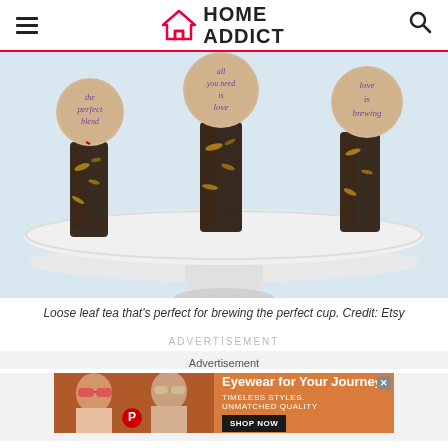HOME ADDICT
[Figure (photo): Three small glass vials filled with loose leaf tea and gold flakes, each topped with a round cardboard tag with calligraphed text: 'the perfect blend', 'all you need is love', 'love is brewing'. The vials sit on a white ceramic cake stand pedestal.]
Loose leaf tea that's perfect for brewing the perfect cup. Credit: Etsy
ADVERTISEMENT
Advertisement
[Figure (screenshot): Advertisement banner for eyewear featuring two women wearing sunglasses with text 'Eyewear for Your Journey', 'TIMELESS STYLES. UNMATCHED QUALITY', and a 'SHOP NOW' button.]